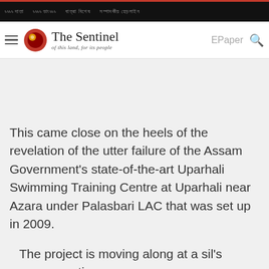The Sentinel - of this land, for its people
This came close on the heels of the revelation of the utter failure of the Assam Government's state-of-the-art Uparhali Swimming Training Centre at Uparhali near Azara under Palasbari LAC that was set up in 2009.
The project is moving along at a sil's pace, creating